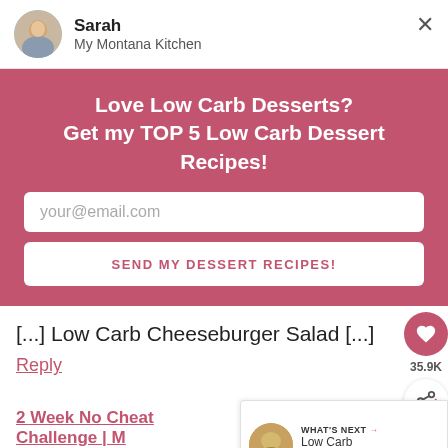Sarah
My Montana Kitchen
Love Low Carb Desserts?
Get my TOP 5 Low Carb Dessert Recipes!
your@email.com
SEND MY DESSERT RECIPES!
[...] Low Carb Cheeseburger Salad [...]
Reply
35.9K
2 Week No Cheat Challenge | My Montana Kitchen says:
July 6, 2018 at 7:12 pm
WHAT'S NEXT → Low Carb Cheesburg...